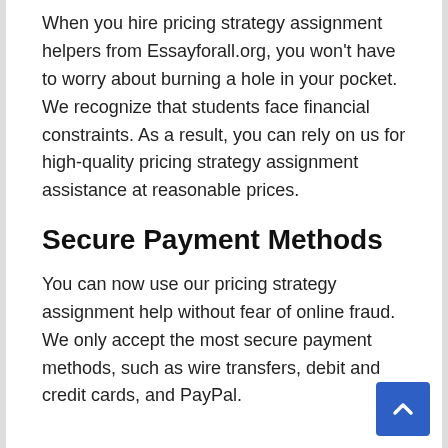When you hire pricing strategy assignment helpers from Essayforall.org, you won't have to worry about burning a hole in your pocket. We recognize that students face financial constraints. As a result, you can rely on us for high-quality pricing strategy assignment assistance at reasonable prices.
Secure Payment Methods
You can now use our pricing strategy assignment help without fear of online fraud. We only accept the most secure payment methods, such as wire transfers, debit and credit cards, and PayPal.